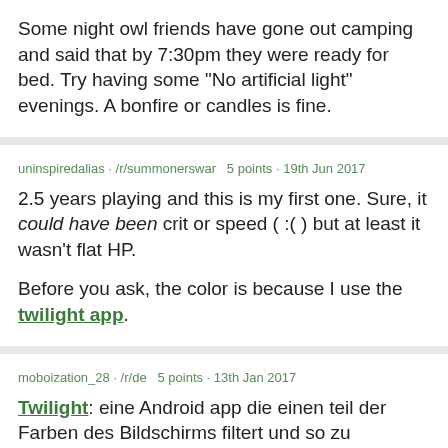Some night owl friends have gone out camping and said that by 7:30pm they were ready for bed. Try having some "No artificial light" evenings. A bonfire or candles is fine.
uninspiredalias · /r/summonerswar  5 points · 19th Jun 2017
2.5 years playing and this is my first one. Sure, it could have been crit or speed ( :( ) but at least it wasn't flat HP.

Before you ask, the color is because I use the twilight app.
moboization_28 · /r/de  5 points · 13th Jan 2017
Twilight: eine Android app die einen teil der Farben des Bildschirms filtert und so zu leichterem Einschlafen führt. Sehr empfehlenswert für Leute die vor dem Einschlafen noch auf dem smartphone